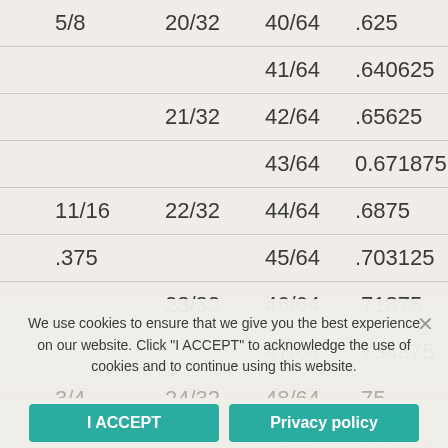| 1/16s | 1/32s | 1/64s | Decimal |
| --- | --- | --- | --- |
| 5/8 | 20/32 | 40/64 | .625 |
|  |  | 41/64 | .640625 |
|  | 21/32 | 42/64 | .65625 |
|  |  | 43/64 | 0.671875 |
| 11/16 | 22/32 | 44/64 | .6875 |
| .375 |  | 45/64 | .703125 |
|  | 23/32 | 46/64 | .71875 |
|  |  | 47/64 | .734375 |
| 3/4 | 24/32 | 48/64 | .75 |
|  |  | 49/64 | .765625 |
|  | 25/32 | 50/64 | .78125 |
|  |  | 51/64 | .796875 |
We use cookies to ensure that we give you the best experience on our website. Click "I ACCEPT" to acknowledge the use of cookies and to continue using this website.